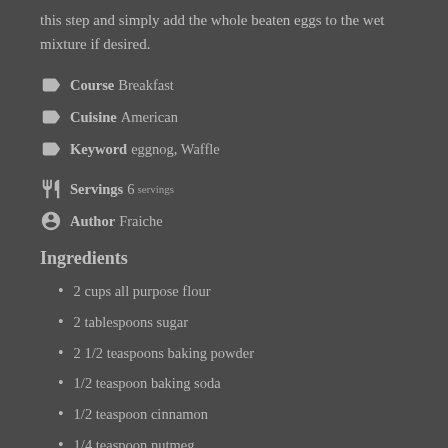this step and simply add the whole beaten eggs to the wet mixture if desired.
Course Breakfast
Cuisine American
Keyword eggnog, Waffle
Servings 6 servings
Author Fraiche
Ingredients
2 cups all purpose flour
2 tablespoons sugar
2 1/2 teaspoons baking powder
1/2 teaspoon baking soda
1/2 teaspoon cinnamon
1/4 teaspoon nutmeg